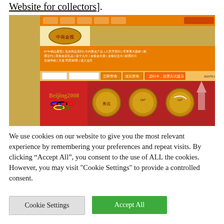Website for collectors].
[Figure (screenshot): Screenshot of a Chinese coin collector website (Beijing collectibles gift website) featuring Olympic and New Year coin imagery, navigation in Chinese, and a red/gold color scheme.]
We use cookies on our website to give you the most relevant experience by remembering your preferences and repeat visits. By clicking “Accept All”, you consent to the use of ALL the cookies. However, you may visit "Cookie Settings" to provide a controlled consent.
Cookie Settings
Accept All